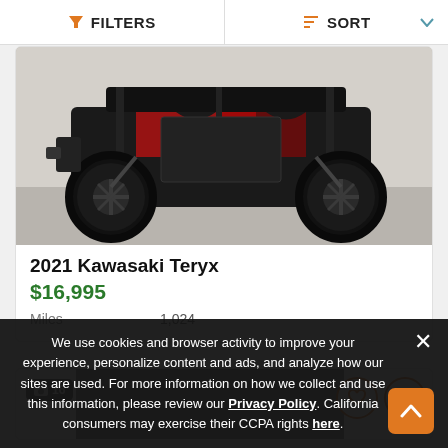FILTERS   SORT
[Figure (photo): Side profile photo of a 2021 Kawasaki Teryx UTV/side-by-side with black and red graphics, large knobby tires, visible suspension, parked on a concrete floor.]
2021 Kawasaki Teryx
$16,995
Miles   1,024
[Figure (photo): Partial view of a second vehicle listing with photo count badge showing 16 photos, and action buttons for favorite and compare.]
We use cookies and browser activity to improve your experience, personalize content and ads, and analyze how our sites are used. For more information on how we collect and use this information, please review our Privacy Policy. California consumers may exercise their CCPA rights here.